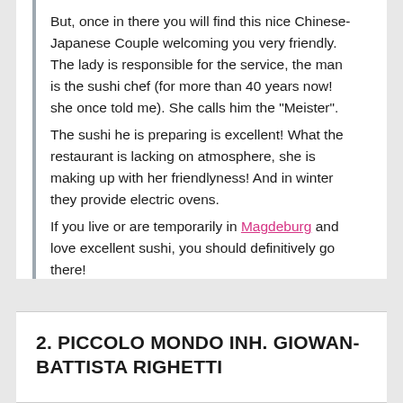But, once in there you will find this nice Chinese-Japanese Couple welcoming you very friendly. The lady is responsible for the service, the man is the sushi chef (for more than 40 years now! she once told me). She calls him the "Meister".
The sushi he is preparing is excellent! What the restaurant is lacking on atmosphere, she is making up with her friendlyness! And in winter they provide electric ovens.
If you live or are temporarily in Magdeburg and love excellent sushi, you should definitively go there!
2. PICCOLO MONDO INH. GIOWAN-BATTISTA RIGHETTI